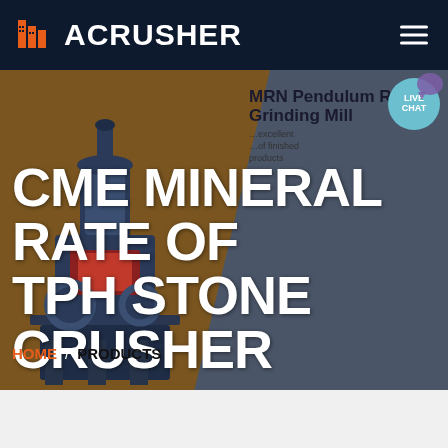ACRUSHER
CME MINERAL RATE OF TPH STONE CRUSHER
[Figure (screenshot): Website screenshot of ACrusher company page showing a stone crusher machine on dark brown/gray diagonal background with hero banner]
MRN Pendulum Roller Grinding Mill
excellent products
HOME / PRODUCTS